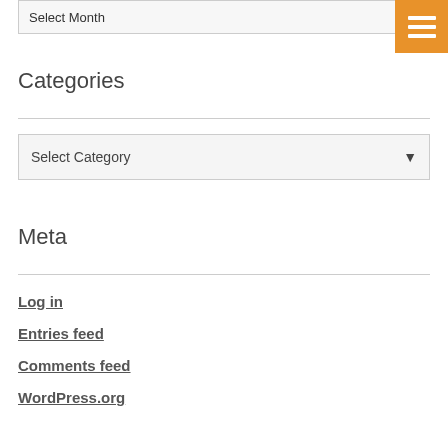Select Month
[Figure (other): Orange hamburger menu button with three white horizontal lines]
Categories
Select Category
Meta
Log in
Entries feed
Comments feed
WordPress.org